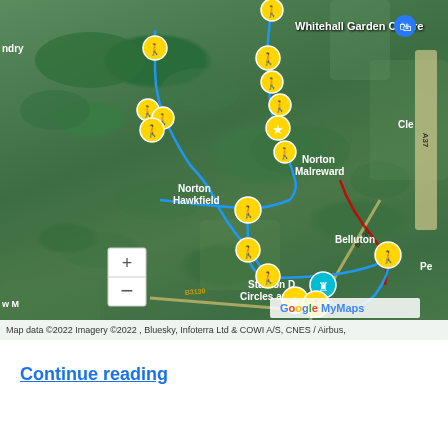[Figure (map): Google My Maps satellite view showing a walking route near Whitehall Garden Centre, Norton Malreward, Norton Hawkfield, Belluton, and Stanton Drew Circles and Cove. The route is marked with blue lines and yellow circular waypoint markers with walking figure icons. Several markers have star icons. Roads including B3130 and A37 are visible. Map data ©2022 Imagery ©2022, Bluesky, Infoterra Ltd & COWI A/S, CNES / Airbus.]
Continue reading